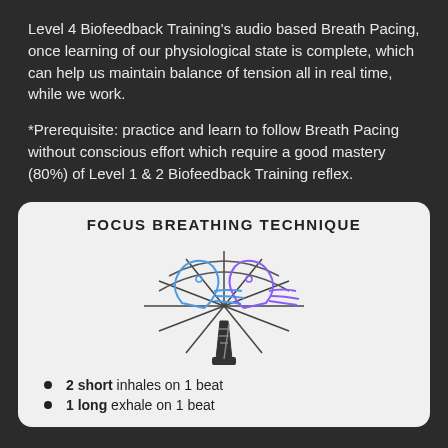Level 4 Biofeedback Training's audio based Breath Pacing, once learning of our physiological state is complete, which can help us maintain balance of tension all in real time, while we work.
*Prerequisite: practice and learn to follow Breath Pacing without conscious effort which require a good mastery (80%) of Level 1 & 2 Biofeedback Training reflex.
FOCUS BREATHING TECHNIQUE
[Figure (illustration): Circular diagram showing two face profiles facing each other with circuit-like lines and a metronome in the center, representing focus breathing technique. Left face is blue, right face is purple.]
2 short inhales on 1 beat
1 long exhale on 1 beat